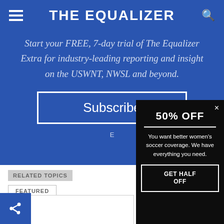THE EQUALIZER
Start your FREE, 7-day trial of The Equalizer Extra for industry-leading reporting and insight on the USWNT, NWSL and beyond.
Subscribe
RELATED TOPICS
FEATURED
[Figure (screenshot): Black modal popup overlay with '50% OFF' heading, divider line, body text 'You want better women's soccer coverage. We have everything you need.' and a 'GET HALF OFF' button with close X icon.]